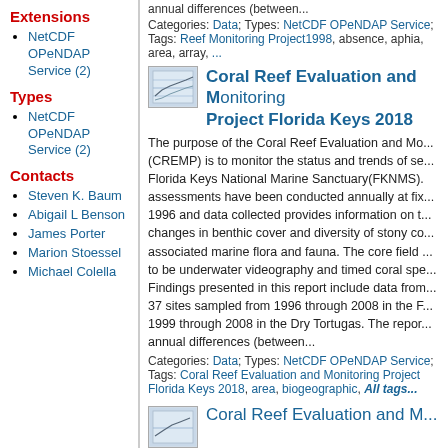annual differences (between...
Categories: Data; Types: NetCDF OPeNDAP Service; Tags: Reef Monitoring Project1998, absence, aphia, area, array, ...
Extensions
NetCDF OPeNDAP Service (2)
Types
NetCDF OPeNDAP Service (2)
Contacts
Steven K. Baum
Abigail L Benson
James Porter
Marion Stoessel
Michael Colella
[Figure (illustration): Thumbnail image showing a map/chart for Coral Reef Evaluation and Monitoring Project Florida Keys 2018]
Coral Reef Evaluation and Monitoring Project Florida Keys 2018
The purpose of the Coral Reef Evaluation and Monitoring Project (CREMP) is to monitor the status and trends of selected reefs in the Florida Keys National Marine Sanctuary(FKNMS). Ecological assessments have been conducted annually at fixed sites since 1996 and data collected provides information on the temporal changes in benthic cover and diversity of stony corals and associated marine flora and fauna. The core field methods continue to be underwater videography and timed coral species counts. Findings presented in this report include data from a network of 37 sites sampled from 1996 through 2008 in the Florida Keys and 1999 through 2008 in the Dry Tortugas. The repor... annual differences (between...
Categories: Data; Types: NetCDF OPeNDAP Service; Tags: Coral Reef Evaluation and Monitoring Project Florida Keys 2018, area, biogeographic, All tags...
[Figure (illustration): Thumbnail image for second Coral Reef Evaluation and Monitoring entry]
Coral Reef Evaluation and M...